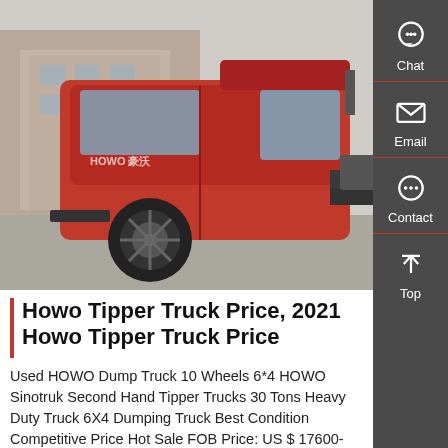[Figure (photo): Red HOWO tipper/dump truck (6x4 tractor unit) parked in an industrial yard, side profile view, with factory buildings in background.]
Howo Tipper Truck Price, 2021 Howo Tipper Truck Price
Used HOWO Dump Truck 10 Wheels 6*4 HOWO Sinotruk Second Hand Tipper Trucks 30 Tons Heavy Duty Truck 6X4 Dumping Truck Best Condition Competitive Price Hot Sale FOB Price: US $ 17600-18500 / Set Min. Order: 1 Set